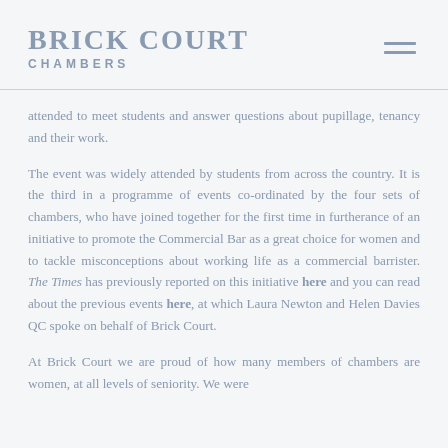BRICK COURT CHAMBERS
attended to meet students and answer questions about pupillage, tenancy and their work.
The event was widely attended by students from across the country. It is the third in a programme of events co-ordinated by the four sets of chambers, who have joined together for the first time in furtherance of an initiative to promote the Commercial Bar as a great choice for women and to tackle misconceptions about working life as a commercial barrister. The Times has previously reported on this initiative here and you can read about the previous events here, at which Laura Newton and Helen Davies QC spoke on behalf of Brick Court.
At Brick Court we are proud of how many members of chambers are women, at all levels of seniority. We were